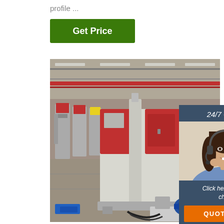profile ...
[Figure (other): Green 'Get Price' button]
[Figure (photo): Industrial factory floor with large red and grey CNC or metalworking machines, blue hydraulic unit in foreground, factory ceiling with red crane rail visible in background]
[Figure (infographic): 24/7 Online chat widget with a woman wearing a headset, 'Click here for free chat!' text and orange QUOTATION button]